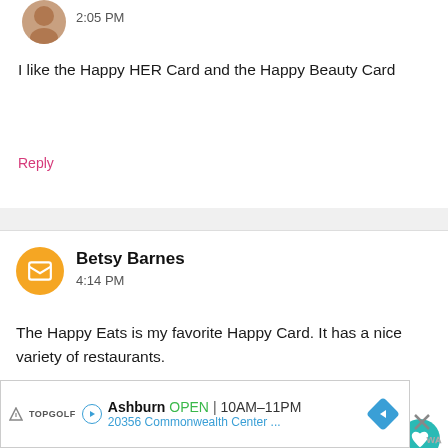2:05 PM
I like the Happy HER Card and the Happy Beauty Card
Reply
Betsy Barnes
4:14 PM
The Happy Eats is my favorite Happy Card. It has a nice variety of restaurants.
Reply
Susan Christy
11:35 PM
Happy Eats sounds like a good one.
WHAT'S NEXT → Tasting the Goodness at...
Ashburn OPEN 10AM–11PM 20356 Commonwealth Center ...